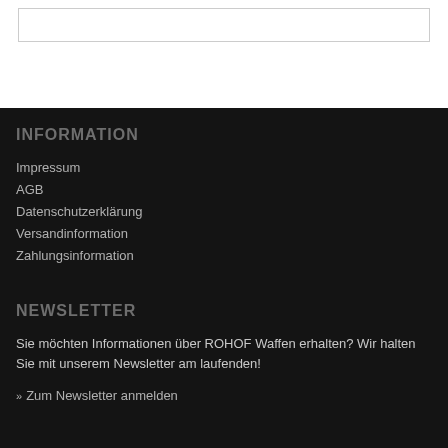INFORMATION
Impressum
AGB
Datenschutzerklärung
Versandinformation
Zahlungsinformation
NEWSLETTER
Sie möchten Informationen über ROHOF Waffen erhalten? Wir halten Sie mit unserem Newsletter am laufenden!
» Zum Newsletter anmelden